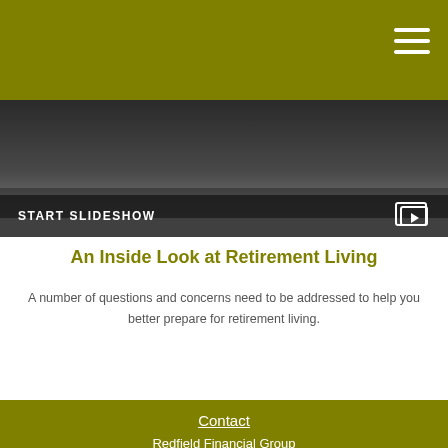[Figure (screenshot): Dark photo showing a laptop/desk scene used as slideshow banner background]
START SLIDESHOW
An Inside Look at Retirement Living
A number of questions and concerns need to be addressed to help you better prepare for retirement living.
Contact
Redfield Financial Group
Office: 616-447-1600
Fax: 616-447-1616
4120 East Beltline Avenue
Suite 100
Grand Rapids, MI 49525